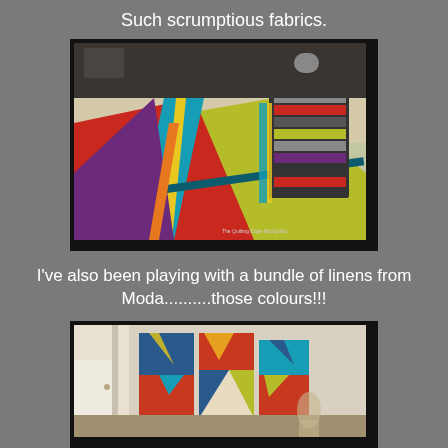Such scrumptious fabrics.
[Figure (photo): Colorful fabric panels laid out on a table with stacked fabric books in the background. Colors include red, teal, yellow, purple, and gray. Watermark reads: The Quilting Edge (MoiQuilts)]
I've also been playing with a bundle of linens from Moda..........those colours!!!
[Figure (photo): Colorful quilted panels displayed against a wall, featuring geometric shapes in red, teal, blue, yellow, and gray.]